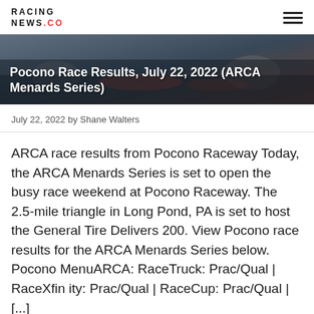RACING NEWS.CO
Pocono Race Results, July 22, 2022 (ARCA Menards Series)
July 22, 2022 by Shane Walters
ARCA race results from Pocono Raceway Today, the ARCA Menards Series is set to open the busy race weekend at Pocono Raceway. The 2.5-mile triangle in Long Pond, PA is set to host the General Tire Delivers 200. View Pocono race results for the ARCA Menards Series below. Pocono MenuARCA: RaceTruck: Prac/Qual | RaceXfinity: Prac/Qual | RaceCup: Prac/Qual | [...]